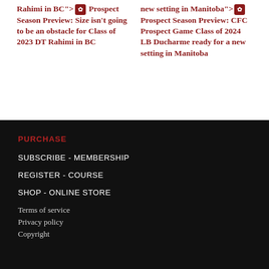Rahimi in BC" > Prospect Season Preview: Size isn't going to be an obstacle for Class of 2023 DT Rahimi in BC
new setting in Manitoba" > Prospect Season Preview: CFC Prospect Game Class of 2024 LB Ducharme ready for a new setting in Manitoba
PURCHASE
SUBSCRIBE - MEMBERSHIP
REGISTER - COURSE
SHOP - ONLINE STORE
Terms of service
Privacy policy
Copyright